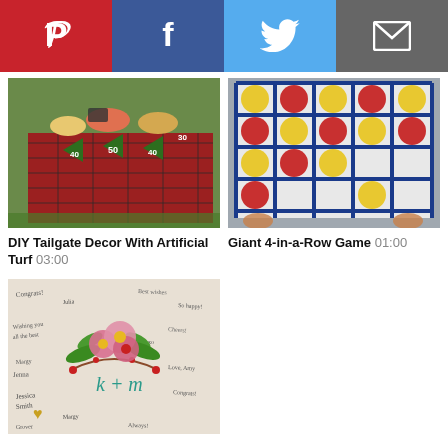[Figure (infographic): Social sharing bar with four buttons: Pinterest (red), Facebook (dark blue), Twitter (light blue), Email/envelope (gray)]
[Figure (photo): DIY tailgate table with plaid tablecloth, football field yardage markers (30, 40, 50), food items, and decorations outdoors]
DIY Tailgate Decor With Artificial Turf 03:00
[Figure (photo): Giant 4-in-a-Row game board with blue grid frame and red and yellow circular discs mounted on a wall/fence]
Giant 4-in-a-Row Game 01:00
[Figure (photo): Wedding guest book with floral design featuring pink and red flowers, green leaves, teal script initials 'k + m', and handwritten signatures all around]